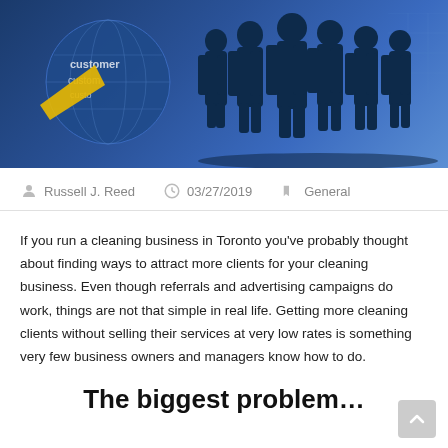[Figure (illustration): Header image showing silhouettes of business people standing in front of a blue globe with the word 'customer' repeated on it, and a yellow arrow/pointer element on the left side.]
Russell J. Reed   03/27/2019   General
If you run a cleaning business in Toronto you've probably thought about finding ways to attract more clients for your cleaning business. Even though referrals and advertising campaigns do work, things are not that simple in real life. Getting more cleaning clients without selling their services at very low rates is something very few business owners and managers know how to do.
The biggest problem…